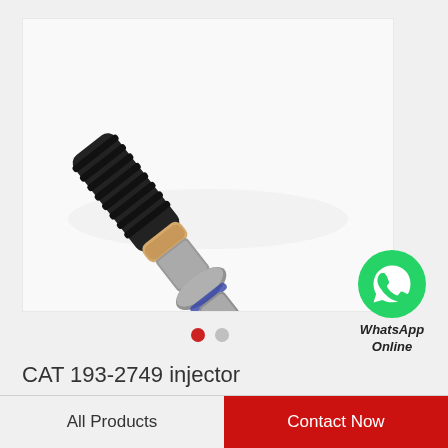[Figure (photo): CAT 193-2749 fuel injector product photo on white background. The injector has a black ribbed body at top-left, a beige/tan rubber seal ring, a silver metallic body with injection tip pointing lower-right. It is positioned diagonally.]
[Figure (logo): WhatsApp green circle logo icon with white phone handset, labeled 'WhatsApp Online' in italic bold text below]
CAT 193-2749 injector
All Products  |  Contact Now